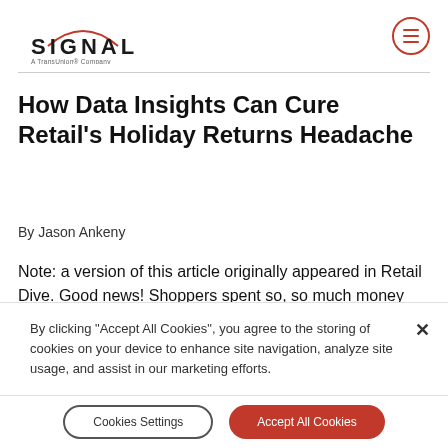[Figure (logo): Signal – A TransUnion Company logo with red arc above text]
How Data Insights Can Cure Retail's Holiday Returns Headache
By Jason Ankeny
Note: a version of this article originally appeared in Retail Dive. Good news! Shoppers spent so, so much money during the 2018 holiday season – as much as $721 billion (up more than 4 percent year-over-year), according to
By clicking "Accept All Cookies", you agree to the storing of cookies on your device to enhance site navigation, analyze site usage, and assist in our marketing efforts.